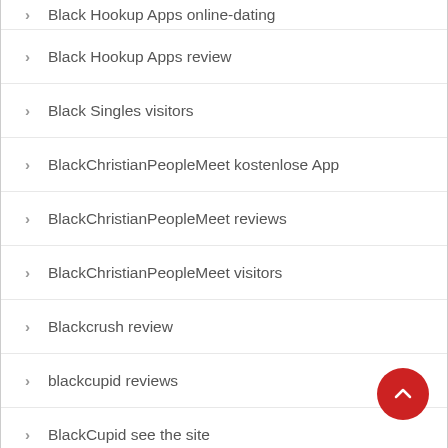Black Hookup Apps online-dating
Black Hookup Apps review
Black Singles visitors
BlackChristianPeopleMeet kostenlose App
BlackChristianPeopleMeet reviews
BlackChristianPeopleMeet visitors
Blackcrush review
blackcupid reviews
BlackCupid see the site
Blackdatingforfree search
blackfling app seiten
Blackfling funziona in italia
BlackFling reviews
BlackFling see the site
blackpeoplemeet ?berpr?fung
blackpeoplemeet de reviews